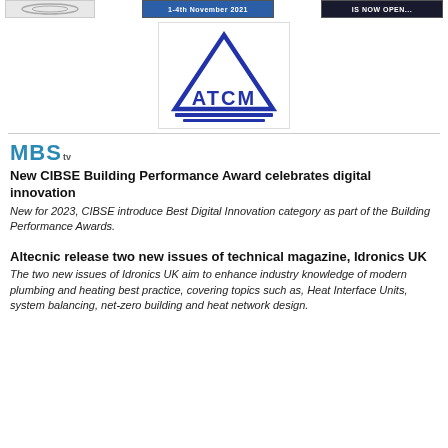[Figure (other): Top banner row with three small images/thumbnails including logos and event banners]
[Figure (logo): ATCM logo — blue triangle outline above bold blue letters ATCM with decorative base lines]
[Figure (logo): MBStv logo in bold teal/blue letters with superscript tv]
New CIBSE Building Performance Award celebrates digital innovation
New for 2023, CIBSE introduce Best Digital Innovation category as part of the Building Performance Awards.
Altecnic release two new issues of technical magazine, Idronics UK
The two new issues of Idronics UK aim to enhance industry knowledge of modern plumbing and heating best practice, covering topics such as, Heat Interface Units, system balancing, net-zero building and heat network design.